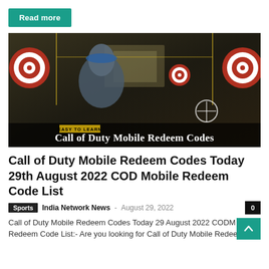Read more
[Figure (photo): Call of Duty Mobile promotional image showing a female character with blue headphones in a shooting range, with text overlay 'EASY TO LEARN Call of Duty Mobile Redeem Codes']
Call of Duty Mobile Redeem Codes Today 29th August 2022 COD Mobile Redeem Code List
Sports  India Network News - August 29, 2022  0
Call of Duty Mobile Redeem Codes Today 29 August 2022 CODM Redeem Code List:- Are you looking for Call of Duty Mobile Redeem